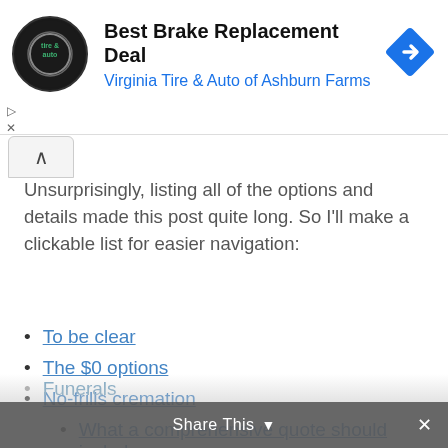[Figure (logo): Advertisement banner for Best Brake Replacement Deal by Virginia Tire & Auto of Ashburn Farms, with circular logo on left and blue diamond navigation icon on right]
Unsurprisingly, listing all of the options and details made this post quite long. So I'll make a clickable list for easier navigation:
To be clear
The $0 options
No-frills cremation
What a comprehensive quote should include
Potential surcharges
Some-frills cremation
Funerals